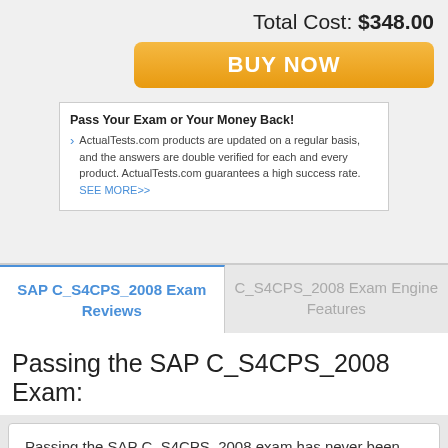Total Cost: $348.00
[Figure (other): Orange BUY NOW button]
Pass Your Exam or Your Money Back! ActualTests.com products are updated on a regular basis, and the answers are double verified for each and every product. ActualTests.com guarantees a high success rate. SEE MORE>>
SAP C_S4CPS_2008 Exam Reviews
C_S4CPS_2008 Exam Engine Features
Passing the SAP C_S4CPS_2008 Exam:
Passing the SAP C_S4CPS_2008 exam has never been